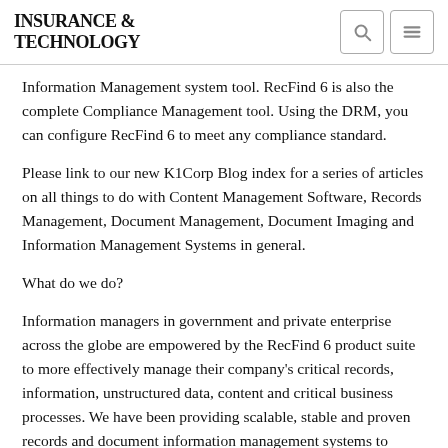INSURANCE & TECHNOLOGY
Information Management system tool. RecFind 6 is also the complete Compliance Management tool. Using the DRM, you can configure RecFind 6 to meet any compliance standard.
Please link to our new K1Corp Blog index for a series of articles on all things to do with Content Management Software, Records Management, Document Management, Document Imaging and Information Management Systems in general.
What do we do?
Information managers in government and private enterprise across the globe are empowered by the RecFind 6 product suite to more effectively manage their company's critical records, information, unstructured data, content and critical business processes. We have been providing scalable, stable and proven records and document information management systems to organizations world-wide since 1984 and have a